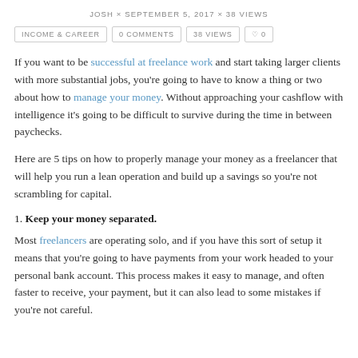JOSH × SEPTEMBER 5, 2017 × 38 VIEWS
INCOME & CAREER   0 COMMENTS   38 VIEWS   ♡ 0
If you want to be successful at freelance work and start taking larger clients with more substantial jobs, you're going to have to know a thing or two about how to manage your money. Without approaching your cashflow with intelligence it's going to be difficult to survive during the time in between paychecks.
Here are 5 tips on how to properly manage your money as a freelancer that will help you run a lean operation and build up a savings so you're not scrambling for capital.
1. Keep your money separated.
Most freelancers are operating solo, and if you have this sort of setup it means that you're going to have payments from your work headed to your personal bank account. This process makes it easy to manage, and often faster to receive, your payment, but it can also lead to some mistakes if you're not careful.